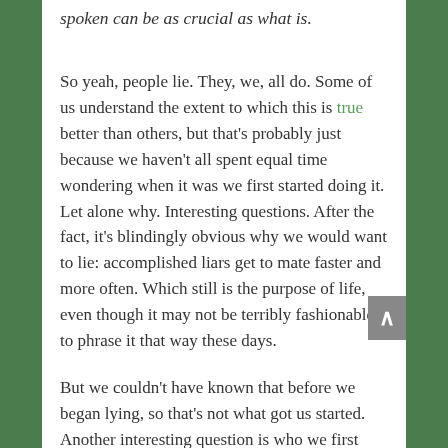spoken can be as crucial as what is.
So yeah, people lie. They, we, all do. Some of us understand the extent to which this is true better than others, but that's probably just because we haven't all spent equal time wondering when it was we first started doing it. Let alone why. Interesting questions. After the fact, it's blindingly obvious why we would want to lie: accomplished liars get to mate faster and more often. Which still is the purpose of life, even though it may not be terribly fashionable to phrase it that way these days.
But we couldn't have known that before we began lying, so that's not what got us started. Another interesting question is who we first lied to, ourselves or others. I personally lean to the former option lately, since we couldn't have known the advantages